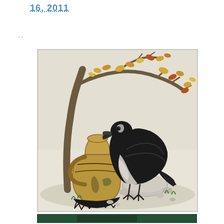16, 2011
..
[Figure (illustration): Illustration of a crow standing on a stone next to a decorated ceramic jug/pitcher, under a leafy tree with autumn-colored leaves. The crow appears to be looking into or at the jug. The scene depicts Aesop's fable 'The Crow and the Pitcher'. The image has a vintage/classical illustration style with watercolor coloring.]
[Figure (photo): Partial photograph visible at bottom of page, appears to show a person in dark setting.]